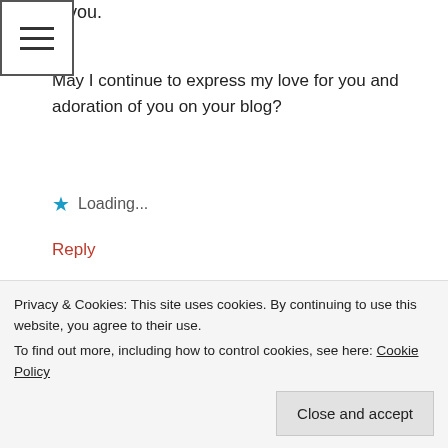you.
May I continue to express my love for you and adoration of you on your blog?
Loading...
Reply
HG Tudor says:
July 31, 2019 at 14:51
Yes, you may.
Privacy & Cookies: This site uses cookies. By continuing to use this website, you agree to their use.
To find out more, including how to control cookies, see here: Cookie Policy
Close and accept